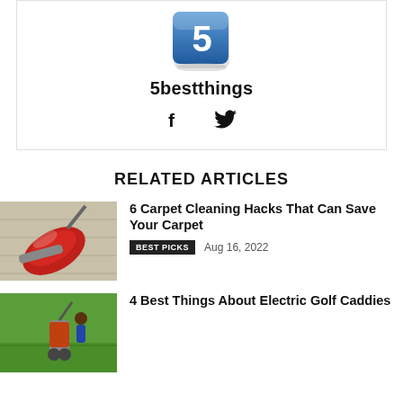[Figure (logo): Blue square icon with number 5 in white]
5bestthings
[Figure (infographic): Social icons: Facebook (f) and Twitter bird]
RELATED ARTICLES
[Figure (photo): Red vacuum cleaner on carpet]
6 Carpet Cleaning Hacks That Can Save Your Carpet
BEST PICKS   Aug 16, 2022
[Figure (photo): Electric golf caddy on green golf course]
4 Best Things About Electric Golf Caddies